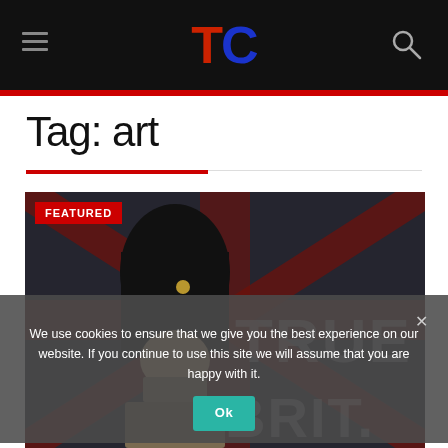TC [logo]
Tag: art
[Figure (photo): Featured article image showing a person in a bearskin hat against a Union Jack flag background, with large text 'TRUE BRIT.' overlaid. A red 'FEATURED' badge is in the top-left corner.]
We use cookies to ensure that we give you the best experience on our website. If you continue to use this site we will assume that you are happy with it.